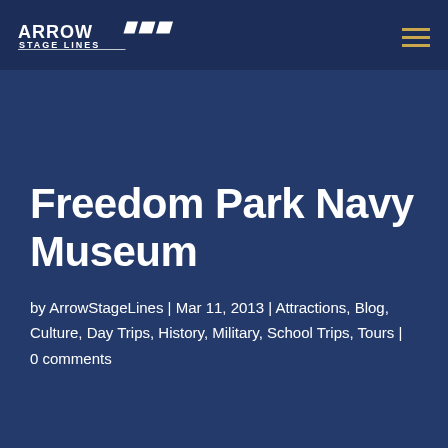Arrow Stage Lines
Freedom Park Navy Museum
by ArrowStageLines | Mar 11, 2013 | Attractions, Blog, Culture, Day Trips, History, Military, School Trips, Tours | 0 comments